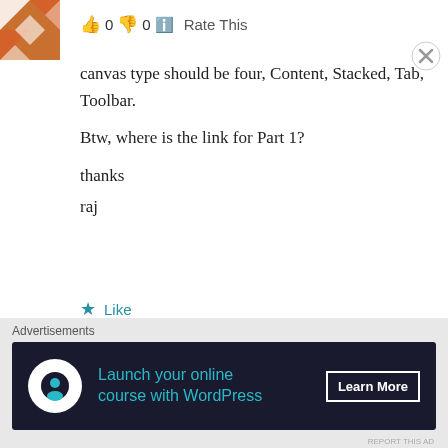[Figure (logo): Orange and white geometric logo/avatar in top-left corner]
👍 0 👎 0 ℹ Rate This
canvas type should be four, Content, Stacked, Tab, Toolbar.

Btw, where is the link for Part 1?

thanks
raj
★ Like
REPLY
Advertisements
[Figure (infographic): Dark advertisement banner: Launch your online course with WordPress — Learn More button]